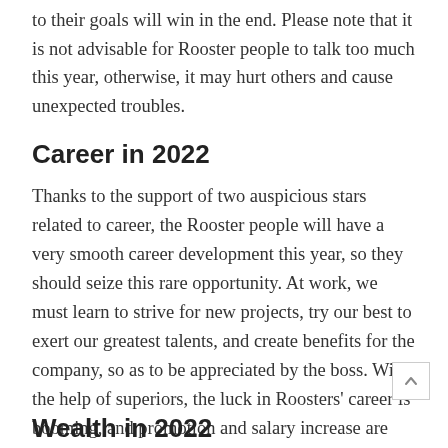to their goals will win in the end. Please note that it is not advisable for Rooster people to talk too much this year, otherwise, it may hurt others and cause unexpected troubles.
Career in 2022
Thanks to the support of two auspicious stars related to career, the Rooster people will have a very smooth career development this year, so they should seize this rare opportunity. At work, we must learn to strive for new projects, try our best to exert our greatest talents, and create benefits for the company, so as to be appreciated by the boss. With the help of superiors, the luck in Roosters' career is booming, and promotion and salary increase are also possible to happen.
Wealth in 2022